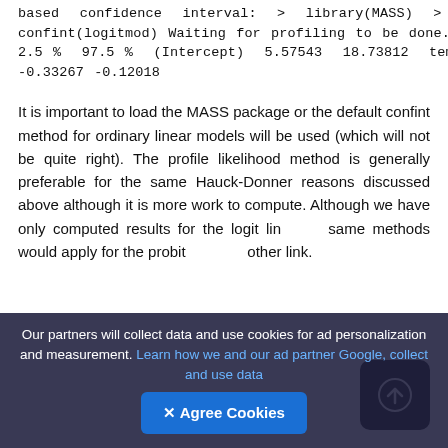based confidence interval: > library(MASS) > confint(logitmod) Waiting for profiling to be done... 2.5 % 97.5 % (Intercept) 5.57543 18.73812 temp -0.33267 -0.12018
It is important to load the MASS package or the default confint method for ordinary linear models will be used (which will not be quite right). The profile likelihood method is generally preferable for the same Hauck-Donner reasons discussed above although it is more work to compute. Although we have only computed results for the logit link, the same methods would apply for the probit and any other link.
(partial text cut off at bottom)
Our partners will collect data and use cookies for ad personalization and measurement. Learn how we and our ad partner Google, collect and use data